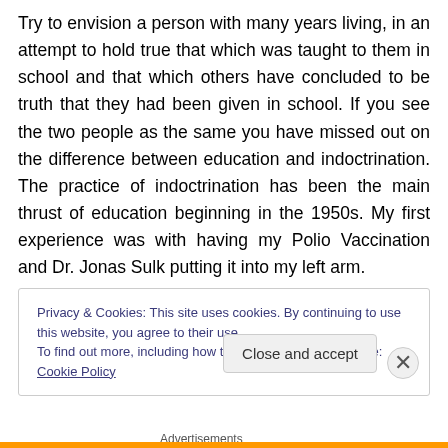Try to envision a person with many years living, in an attempt to hold true that which was taught to them in school and that which others have concluded to be truth that they had been given in school. If you see the two people as the same you have missed out on the difference between education and indoctrination. The practice of indoctrination has been the main thrust of education beginning in the 1950s. My first experience was with having my Polio Vaccination and Dr. Jonas Sulk putting it into my left arm.
Privacy & Cookies: This site uses cookies. By continuing to use this website, you agree to their use. To find out more, including how to control cookies, see here: Cookie Policy
Close and accept
Advertisements